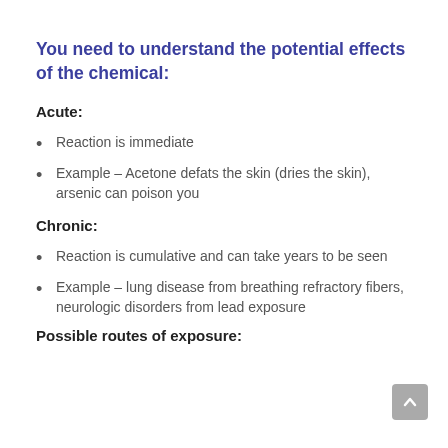You need to understand the potential effects of the chemical:
Acute:
Reaction is immediate
Example – Acetone defats the skin (dries the skin), arsenic can poison you
Chronic:
Reaction is cumulative and can take years to be seen
Example – lung disease from breathing refractory fibers, neurologic disorders from lead exposure
Possible routes of exposure: